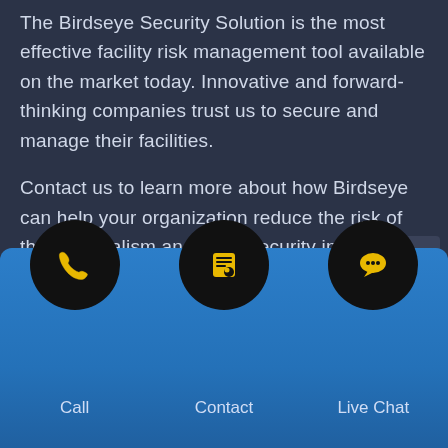The Birdseye Security Solution is the most effective facility risk management tool available on the market today. Innovative and forward-thinking companies trust us to secure and manage their facilities.
Contact us to learn more about how Birdseye can help your organization reduce the risk of theft, vandalism and other security incidents, improve the efficiency of your operations, and enforce important safety and site management proce... All of this
[Figure (infographic): Blue bottom bar with three black circular icon buttons: a phone icon (Call), a contact/person icon (Contact), and a speech bubble icon (Live Chat). Labels appear below each icon.]